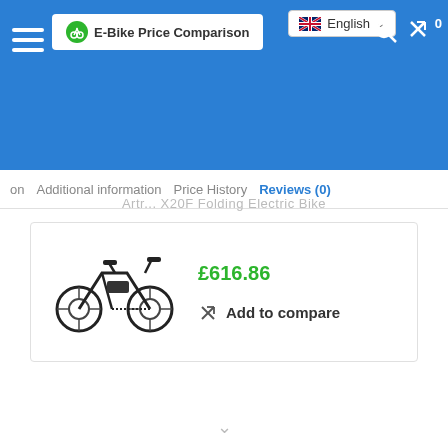E-Bike Price Comparison
on   Additional information   Price History   Reviews (0)
Artr... X20F Folding Electric Bike
£616.86
Add to compare